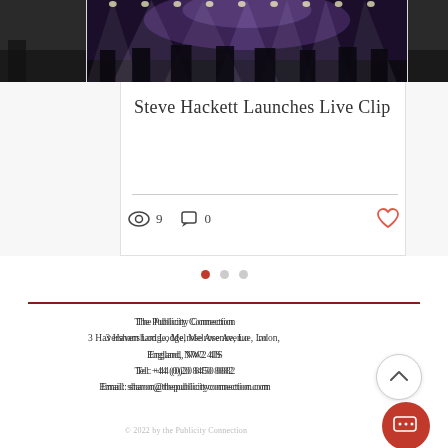[Figure (photo): Concert photo showing a band on stage with purple/white stage lighting beams, partially cropped on left and right edges]
Steve Hackett Launches Live Clip
[Figure (infographic): Card interaction icons: eye icon with count 9, comment bubble icon with count 0, heart icon (outlined in red/coral)]
[Figure (infographic): Pagination dots: three dots, first filled red (active), second and third grey (inactive)]
The Publicity Connection
3 Haversham Lodge, Melrose Avenue, London,
England, NW2 4JS
Tel: +44 (0)20 8450 8882
Email: sharon@thepublicityconnection.com
© 2022 by the Publicity Connection